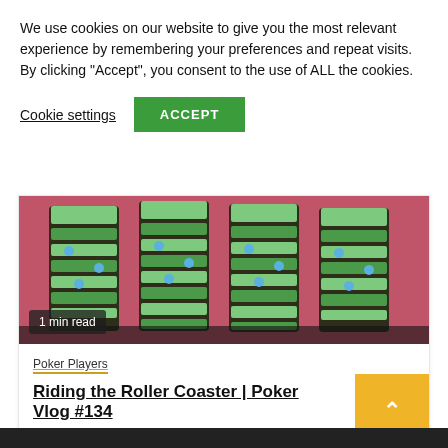We use cookies on our website to give you the most relevant experience by remembering your preferences and repeat visits. By clicking “Accept”, you consent to the use of ALL the cookies.
Cookie settings
ACCEPT
[Figure (photo): Stacks of poker chips (black and yellow-green pattern) on a pink/red surface. Badge reads '1 min read'.]
Poker Players
Riding the Roller Coaster | Poker Vlog #134
2 days ago   Julia